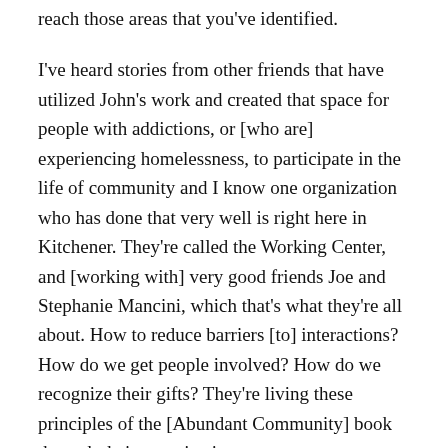reach those areas that you've identified.
I've heard stories from other friends that have utilized John's work and created that space for people with addictions, or [who are] experiencing homelessness, to participate in the life of community and I know one organization who has done that very well is right here in Kitchener. They're called the Working Center, and [working with] very good friends Joe and Stephanie Mancini, which that's what they're all about. How to reduce barriers [to] interactions? How do we get people involved? How do we recognize their gifts? They're living these principles of the [Abundant Community] book through their organization.
John: Jonathan, she's asking about the people at the margins and how they might be engaged. You've had a very unusual experience when you took over these community centers. There were a lot of people who were called young